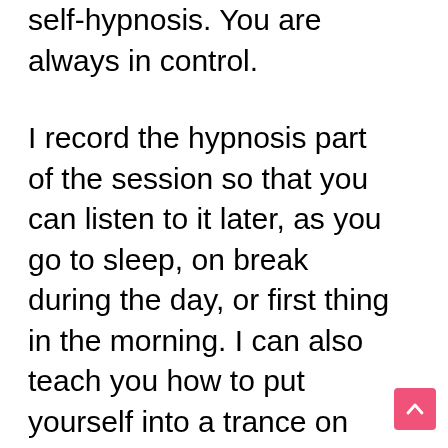self-hypnosis. You are always in control.
I record the hypnosis part of the session so that you can listen to it later, as you go to sleep, on break during the day, or first thing in the morning. I can also teach you how to put yourself into a trance on your own, and how to do it in a way that you achieve